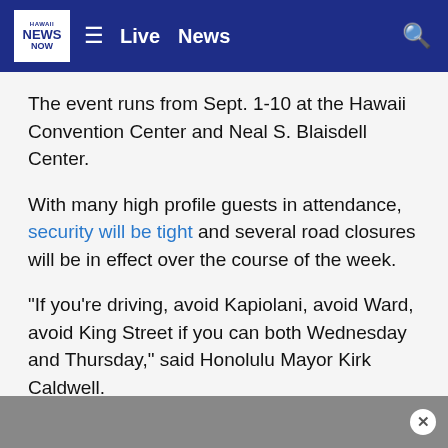Hawaii News Now — Live   News
The event runs from Sept. 1-10 at the Hawaii Convention Center and Neal S. Blaisdell Center.
With many high profile guests in attendance, security will be tight and several road closures will be in effect over the course of the week.
"If you're driving, avoid Kapiolani, avoid Ward, avoid King Street if you can both Wednesday and Thursday," said Honolulu Mayor Kirk Caldwell.
ADVERTISEMENT